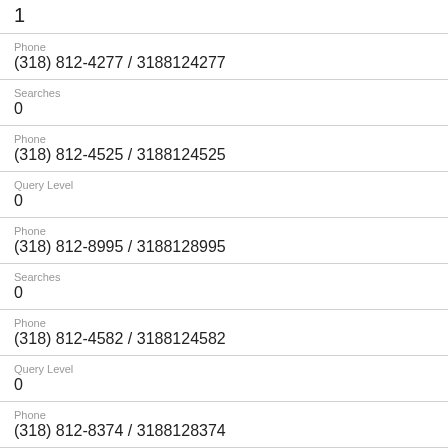1
Phone
(318) 812-4277 / 3188124277
Searches
0
Phone
(318) 812-4525 / 3188124525
Query Level
0
Phone
(318) 812-8995 / 3188128995
Searches
0
Phone
(318) 812-4582 / 3188124582
Query Level
0
Phone
(318) 812-8374 / 3188128374